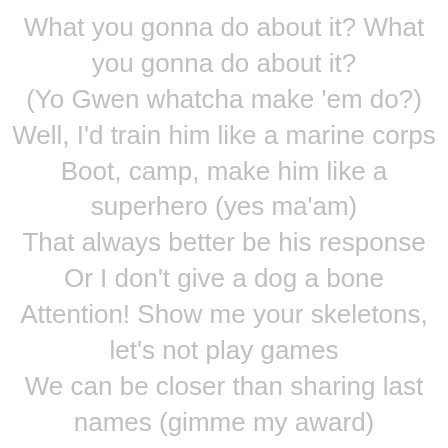What you gonna do about it? What you gonna do about it? (Yo Gwen whatcha make 'em do?) Well, I'd train him like a marine corps Boot, camp, make him like a superhero (yes ma'am) That always better be his response Or I don't give a dog a bone Attention! Show me your skeletons, let's not play games We can be closer than sharing last names (gimme my award) The award is a purple heart, it could